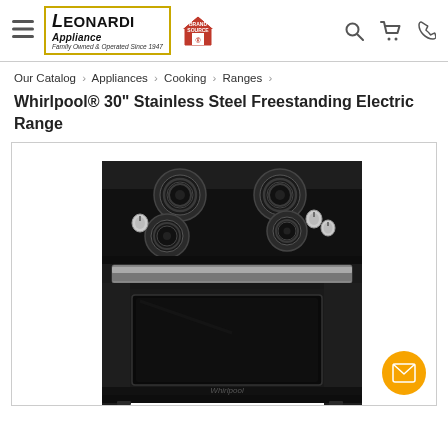Leonardi Appliance — Brand Source header navigation
Our Catalog › Appliances › Cooking › Ranges ›
Whirlpool® 30" Stainless Steel Freestanding Electric Range
[Figure (photo): Photo of a Whirlpool black freestanding electric range with four coil burners on top, stainless steel oven door handle, and oven window, shown on a white background.]